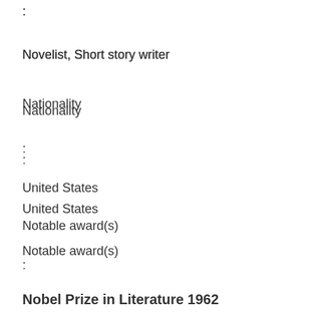:
Novelist, Short story writer
Nationality
:
United States
Notable award(s)
:
Nobel Prize in Literature 1962
Biography:
He was born in California, Salinas. Senior John Steinbeck, his father, later on, would become the Oliver Steinbeck...